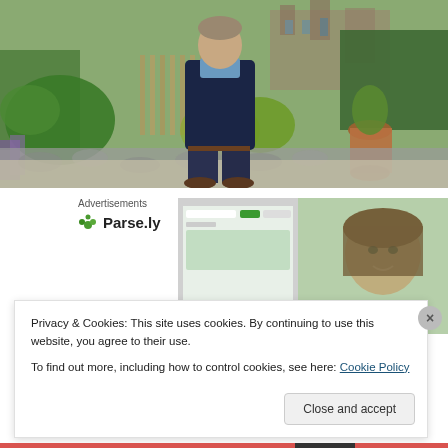[Figure (photo): A man in dark clothes standing in a garden with stone wall, plants and a terracotta pot, castle or church building visible in background]
Advertisements
[Figure (logo): Parse.ly logo with green leaf icon and bold text]
[Figure (screenshot): Screenshot of Parse.ly dashboard interface with woman's face visible on right side]
Privacy & Cookies: This site uses cookies. By continuing to use this website, you agree to their use.
To find out more, including how to control cookies, see here: Cookie Policy
Close and accept